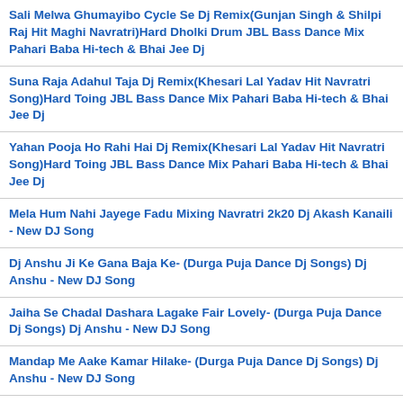Sali Melwa Ghumayibo Cycle Se Dj Remix(Gunjan Singh & Shilpi Raj Hit Maghi Navratri)Hard Dholki Drum JBL Bass Dance Mix Pahari Baba Hi-tech & Bhai Jee Dj
Suna Raja Adahul Taja Dj Remix(Khesari Lal Yadav Hit Navratri Song)Hard Toing JBL Bass Dance Mix Pahari Baba Hi-tech & Bhai Jee Dj
Yahan Pooja Ho Rahi Hai Dj Remix(Khesari Lal Yadav Hit Navratri Song)Hard Toing JBL Bass Dance Mix Pahari Baba Hi-tech & Bhai Jee Dj
Mela Hum Nahi Jayege Fadu Mixing Navratri 2k20 Dj Akash Kanaili - New DJ Song
Dj Anshu Ji Ke Gana Baja Ke- (Durga Puja Dance Dj Songs) Dj Anshu - New DJ Song
Jaiha Se Chadal Dashara Lagake Fair Lovely- (Durga Puja Dance Dj Songs) Dj Anshu - New DJ Song
Mandap Me Aake Kamar Hilake- (Durga Puja Dance Dj Songs) Dj Anshu - New DJ Song
saawan ki rut h aaja ma Hard Fadu Mix Navratri Bhakti 2020 Dj Arvind Chauahn Ramnagar 7054629466 - New DJ Song